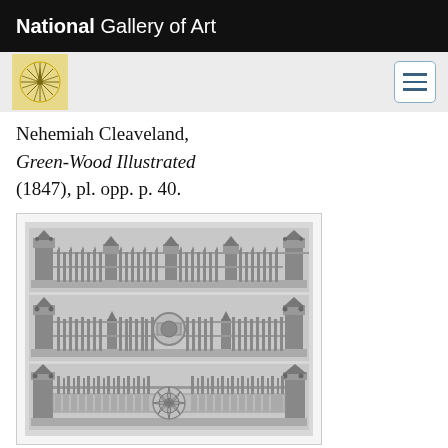National Gallery of Art
Nehemiah Cleaveland, Green-Wood Illustrated (1847), pl. opp. p. 40.
[Figure (illustration): Three horizontal panels showing decorative iron railing patterns, each with ornate Gothic-style ironwork including spires, finials, and geometric designs. Middle panel features a circular medallion in the center. Bottom panel has a large circular rosette motif at center.]
George W. Stilwell, Patterns of railings at Green-Wood